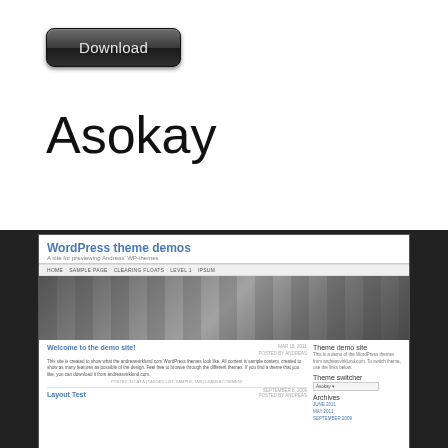[Figure (screenshot): A dark button with rounded corners labeled 'Download' in light gray text on a dark gradient background]
Asokay
[Figure (screenshot): Screenshot of a WordPress theme demo site called 'Asokay'. Shows a site header with 'WordPress theme demos' title, navigation bar with HOME, SAMPLE PAGE, CLEARING FLOATS, LEVEL 1, IPSUM links, a black and white hero image of mechanical parts/gears, and below that a two-column layout with blog posts 'Welcome to the demo site!' and 'Layout Test' on the left, and a sidebar on the right with Theme demo site info, Theme switcher dropdown set to Asokay, and Archives links for JUNE 2011, MAY 2011, SEPTEMBER 2009.]